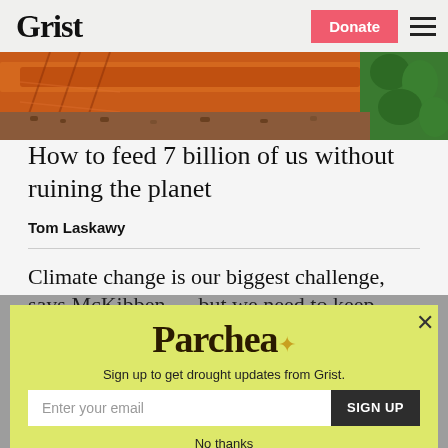Grist | Donate
[Figure (photo): Close-up image of orange/brown food items (possibly bread or smoked salmon) on a surface with green foliage in the background]
How to feed 7 billion of us without ruining the planet
Tom Laskawy
Climate change is our biggest challenge, says McKibben — but we need to keep
[Figure (infographic): Parchea newsletter signup modal overlay with yellow-green background. Contains 'Parchea' logo text, tagline 'Sign up to get drought updates from Grist.', email input field, SIGN UP button, and 'No thanks' link.]